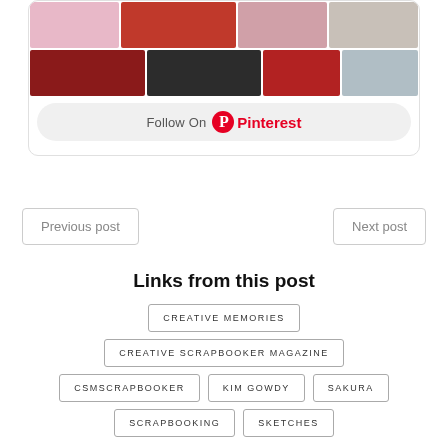[Figure (screenshot): Pinterest widget showing a grid of craft/scrapbooking pin images including Tea Bag, Technique Tasters, Stencils, Splatter Cloud Background thumbnails, with a 'Follow On Pinterest' button below]
Previous post
Next post
Links from this post
CREATIVE MEMORIES
CREATIVE SCRAPBOOKER MAGAZINE
CSMSCRAPBOOKER
KIM GOWDY
SAKURA
SCRAPBOOKING
SKETCHES